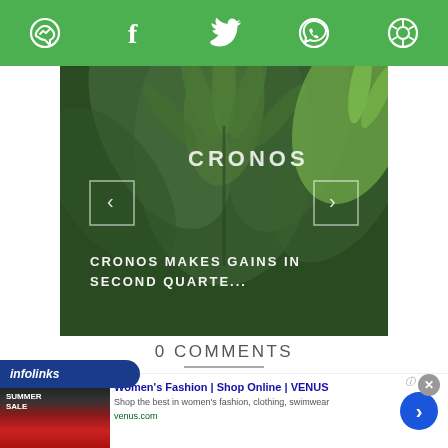[Figure (screenshot): Social sharing toolbar with green background showing messenger, facebook, twitter, whatsapp, and another icon]
[Figure (photo): Cannabis plant leaves in dark green background with CRONOS logo and text 'CRONOS MAKES GAINS IN SECOND QUARTE...' with left/right navigation arrows]
0 COMMENTS
[Figure (screenshot): Infolinks ad banner showing Women's Fashion | Shop Online | VENUS advertisement with blue arrow button]